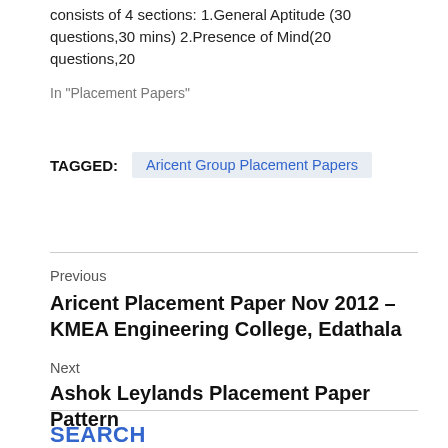consists of 4 sections: 1.General Aptitude (30 questions,30 mins) 2.Presence of Mind(20 questions,20
In "Placement Papers"
TAGGED:  Aricent Group Placement Papers
Previous
Aricent Placement Paper Nov 2012 – KMEA Engineering College, Edathala
Next
Ashok Leylands Placement Paper Pattern
SEARCH